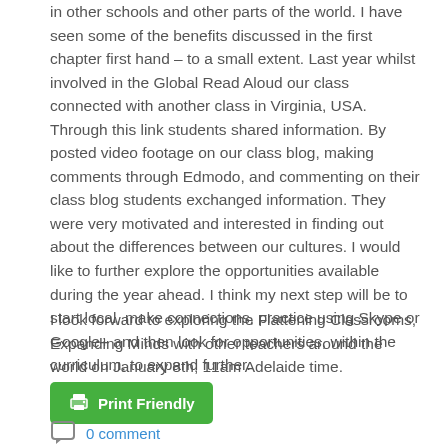in other schools and other parts of the world. I have seen some of the benefits discussed in the first chapter first hand – to a small extent. Last year whilst involved in the Global Read Aloud our class connected with another class in Virginia, USA. Through this link students shared information. By posted video footage on our class blog, making comments through Edmodo, and commenting on their class blog students exchanged information. They were very motivated and interested in finding out about the differences between our cultures. I would like to further explore the opportunities available during the year ahead. I think my next step will be to start local, make connections, practice using Skype or Google+ and then look for opportunities, within the curriculum, to expand further.
I look forward to exploring the Flattening Classrooms, Expanding Minds with other teachers around the world on January 8th, 11am Adelaide time.
[Figure (other): Green 'Print Friendly' button with printer icon]
[Figure (other): Comment icon with '0 comment' link in blue]